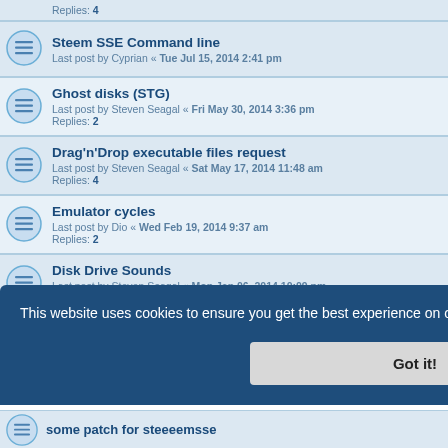Replies: 4
Steem SSE Command line
Last post by Cyprian « Tue Jul 15, 2014 2:41 pm
Ghost disks (STG)
Last post by Steven Seagal « Fri May 30, 2014 3:36 pm
Replies: 2
Drag'n'Drop executable files request
Last post by Steven Seagal « Sat May 17, 2014 11:48 am
Replies: 4
Emulator cycles
Last post by Dio « Wed Feb 19, 2014 9:37 am
Replies: 2
Disk Drive Sounds
Last post by Steven Seagal « Mon Jan 06, 2014 10:09 pm
Replies: 10
Coming soon! Steem SSE 3.5
Last post by Steven Seagal « Thu Jan 02, 2014 7:45 pm
some patch for steeeemsse
This website uses cookies to ensure you get the best experience on our website. Learn more
Got it!